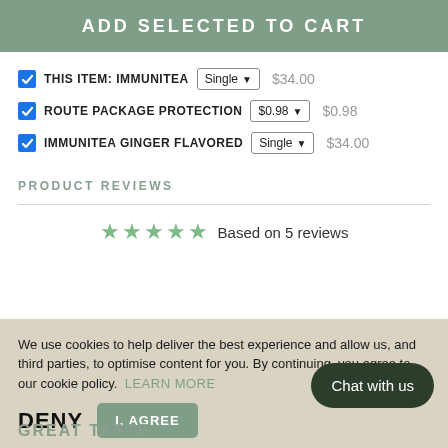ADD SELECTED TO CART
THIS ITEM: IMMUNITEA  Single  $34.00
ROUTE PACKAGE PROTECTION  $0.98  $0.98
IMMUNITEA GINGER FLAVORED  Single  $34.00
PRODUCT REVIEWS
Based on 5 reviews
We use cookies to help deliver the best experience and allow us, and third parties, to optimise content for you. By continuing, you agree to our cookie policy.  LEARN MORE
DENY
I, AGREE
Chat with us
GREAT TASTE